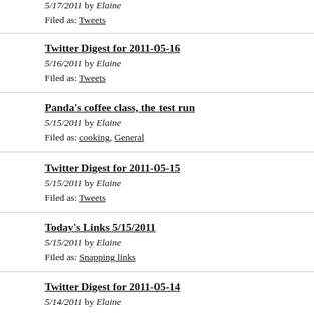5/17/2011 by Elaine
Filed as: Tweets
Twitter Digest for 2011-05-16
5/16/2011 by Elaine
Filed as: Tweets
Panda's coffee class, the test run
5/15/2011 by Elaine
Filed as: cooking, General
Twitter Digest for 2011-05-15
5/15/2011 by Elaine
Filed as: Tweets
Today's Links 5/15/2011
5/15/2011 by Elaine
Filed as: Snapping links
Twitter Digest for 2011-05-14
5/14/2011 by Elaine